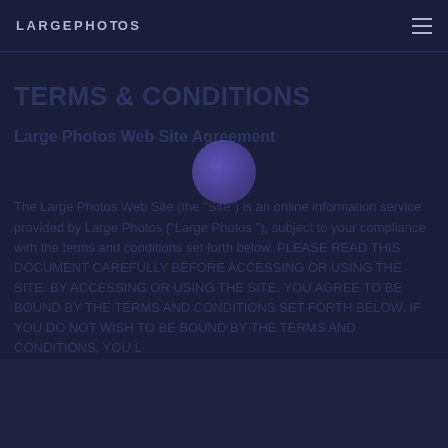LARGEPHOTOS
TERMS & CONDITIONS
Large Photos Web Site Agreement
The Large Photos Web Site (the “Site”) is an online information service provided by Large Photos (“Large Photos ”), subject to your compliance with the terms and conditions set forth below. PLEASE READ THIS DOCUMENT CAREFULLY BEFORE ACCESSING OR USING THE SITE. BY ACCESSING OR USING THE SITE, YOU AGREE TO BE BOUND BY THE TERMS AND CONDITIONS SET FORTH BELOW. IF YOU DO NOT WISH TO BE BOUND BY THE TERMS AND CONDITIONS, YOU L